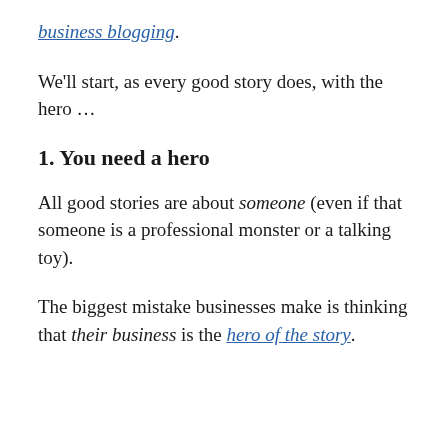business blogging.
We'll start, as every good story does, with the hero …
1. You need a hero
All good stories are about someone (even if that someone is a professional monster or a talking toy).
The biggest mistake businesses make is thinking that their business is the hero of the story.